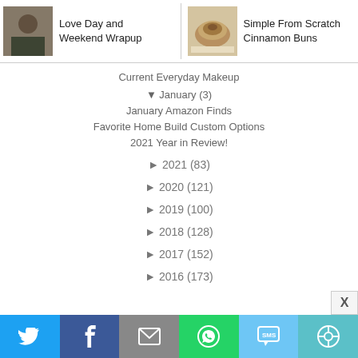[Figure (screenshot): Navigation bar with two blog post links: 'Love Day and Weekend Wrapup' with a photo of a woman, and 'Simple From Scratch Cinnamon Buns' with a photo of cinnamon buns]
Current Everyday Makeup
▼ January (3)
January Amazon Finds
Favorite Home Build Custom Options
2021 Year in Review!
► 2021 (83)
► 2020 (121)
► 2019 (100)
► 2018 (128)
► 2017 (152)
► 2016 (173)
[Figure (infographic): Social share bar with Twitter, Facebook, Email, WhatsApp, SMS, and More buttons]